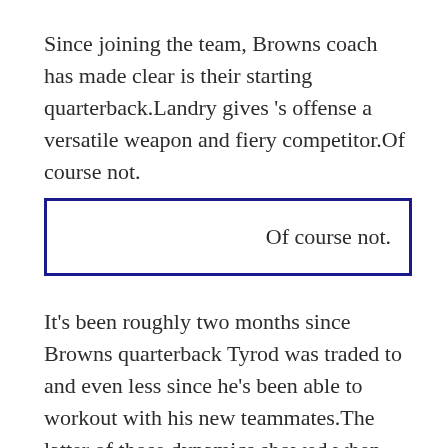Since joining the team, Browns coach has made clear is their starting quarterback.Landry gives 's offense a versatile weapon and fiery competitor.Of course not.
Of course not.
It's been roughly two months since Browns quarterback Tyrod was traded to and even less since he's been able to workout with his new teammates.The latter of those dynamics showed when asked if he agreed with his ranking the NFL's Top 100 Players list.Since joining the team, Browns coach has made clear is their starting quarterback.